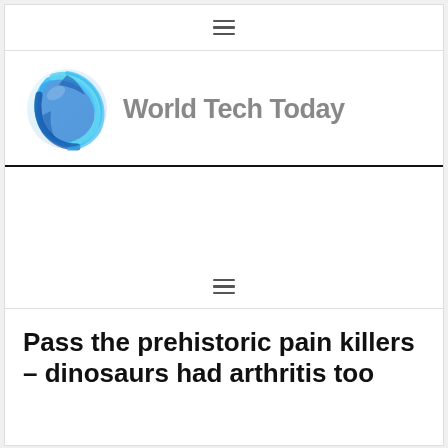≡ (navigation menu icon)
[Figure (logo): World Tech Today logo: a blue globe icon on the left and the text 'World Tech Today' in gray bold font on the right]
≡ (navigation menu icon)
Pass the prehistoric pain killers – dinosaurs had arthritis too